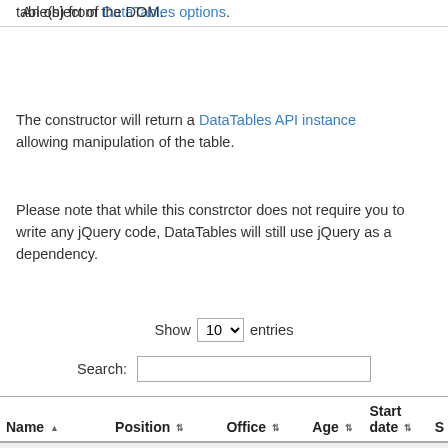table(s) from the DOM.
An object of DataTables options.
The constructor will return a DataTables API instance allowing manipulation of the table.
Please note that while this constrctor does not require you to write any jQuery code, DataTables will still use jQuery as a dependency.
| Name | Position | Office | Age | Start date | S |
| --- | --- | --- | --- | --- | --- |
| Airi Satou | Accountant | Tokyo | 33 | 2008-11-28 | $ |
| Angelica | Chief Executive |  |  | 2009- |  |